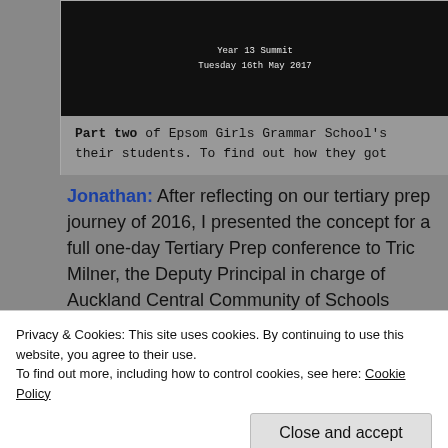[Figure (screenshot): Black slide image showing 'Year 13 Summit Tuesday 16th May 2017' text in white monospace font on black background]
Part two of Epsom Girls Grammar School's their students. To find out how they got
Jonathan:  After reflecting on our tertiary prep journey of 2016, I presented the concept for a full one-day Tertiary Prep conference to Tric Milner, the Deputy Principal in charge of Auckland Central Community of Schools (ACCOS) at EGGS. The Tertiary Prep Professional Learning Group (PLG) decided it was
Privacy & Cookies: This site uses cookies. By continuing to use this website, you agree to their use.
To find out more, including how to control cookies, see here: Cookie Policy
Close and accept
benefited most